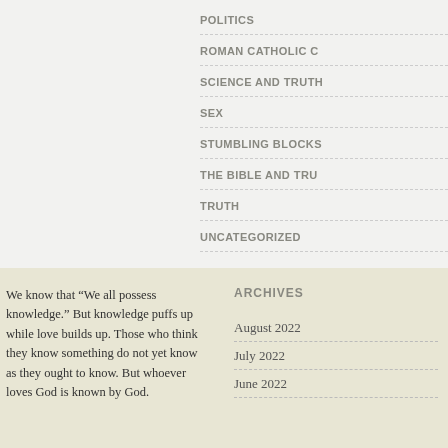POLITICS
ROMAN CATHOLIC C
SCIENCE AND TRUTH
SEX
STUMBLING BLOCKS
THE BIBLE AND TRU
TRUTH
UNCATEGORIZED
We know that “We all possess knowledge.” But knowledge puffs up while love builds up. Those who think they know something do not yet know as they ought to know. But whoever loves God is known by God.
ARCHIVES
August 2022
July 2022
June 2022